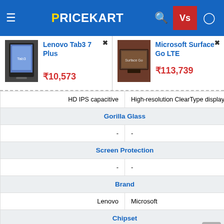PRICEKART — navigation bar with hamburger menu, logo, search, Vs, and user icon
| Lenovo Tab3 7 Plus | Microsoft Surface Go LTE |
| --- | --- |
| ₹10,573 | ₹113,739 |
| HD IPS capacitive | High-resolution ClearType display |
| Gorilla Glass | Gorilla Glass |
| - | - |
| Screen Protection | Screen Protection |
| - | - |
| Brand | Brand |
| Lenovo | Microsoft |
| Chipset | Chipset |
| Snapdragon 410 |  |